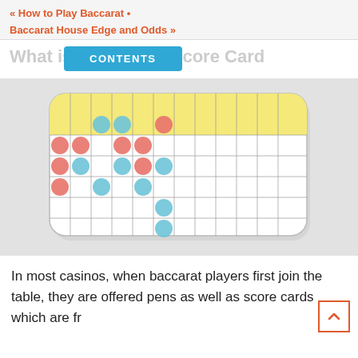« How to Play Baccarat • Baccarat House Edge and Odds »
What is a Baccarat Score Card
[Figure (illustration): A baccarat score card shown at an angle with a yellow header row and a grid of cells containing red and blue circles representing player and banker wins.]
In most casinos, when baccarat players first join the table, they are offered pens as well as score cards which are fr